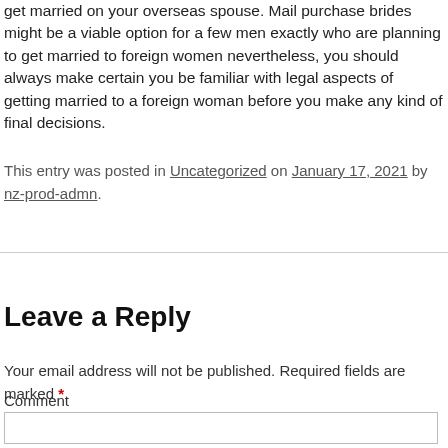get married on your overseas spouse. Mail purchase brides might be a viable option for a few men exactly who are planning to get married to foreign women nevertheless, you should always make certain you be familiar with legal aspects of getting married to a foreign woman before you make any kind of final decisions.
This entry was posted in Uncategorized on January 17, 2021 by nz-prod-admn.
Leave a Reply
Your email address will not be published. Required fields are marked *
Comment